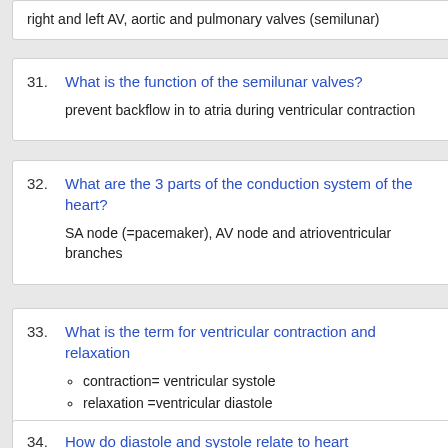right and left AV, aortic and pulmonary valves (semilunar)
31. What is the function of the semilunar valves?
prevent backflow in to atria during ventricular contraction
32. What are the 3 parts of the conduction system of the heart?
SA node (=pacemaker), AV node and atrioventricular branches
33. What is the term for ventricular contraction and relaxation
contraction= ventricular systole
relaxation =ventricular diastole
34. How do diastole and systole relate to heart